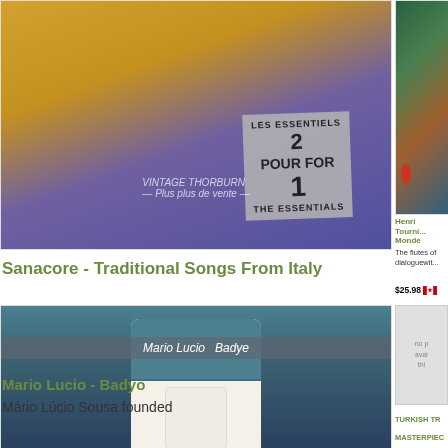[Figure (photo): Album cover for Sanacore - Traditional Songs From Italy, showing '2 POUR / 2 FOR 1 / LES ESSENTIELS / THE ESSENTIALS' promotional overlay over golden/purple artwork]
Sanacore - Traditional Songs From Italy
With their arrangements of traditiona...
$32.98 [CA flag] ADD TO CART
[Figure (photo): Album cover for Henri Tourni... Monde, showing colorful abstract art with fabric/textile pattern in green, blue and red tones]
Henri Tourni... Monde
The flutes of dialoguewit...
$25.98 [CA flag]
[Figure (photo): Album cover for Mario Lucio - Badyo, showing a man in a white suit with decorative tie, standing in front of a tropical background]
Mario Lucio - Badyo
Mário Lúcio Sousa founded
[Figure (other): Placeholder image showing 'no photo available this' text in gray]
TURKISH TR... MASTERPIECE... TURKISH M...